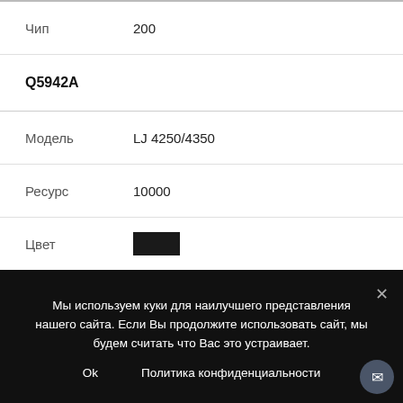|  |  |
| --- | --- |
| Чип | 200 |
| Q5942A |  |
| Модель | LJ 4250/4350 |
| Ресурс | 10000 |
| Цвет | [black swatch] |
| Заправка | 1290 |
| Чип | 200 |
| Q5942X |  |
| Модель | LJ 4250/4350 |
Мы используем куки для наилучшего представления нашего сайта. Если Вы продолжите использовать сайт, мы будем считать что Вас это устраивает.
Ok   Политика конфиденциальности